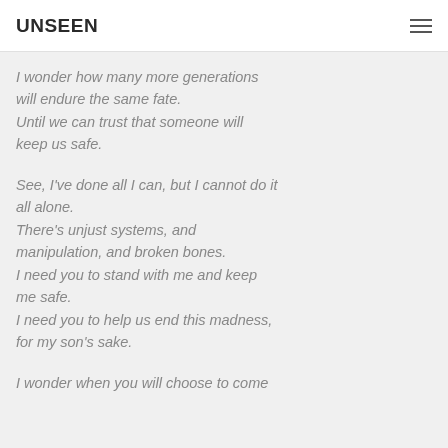UNSEEN
I wonder how many more generations will endure the same fate.
Until we can trust that someone will keep us safe.
See, I've done all I can, but I cannot do it all alone.
There's unjust systems, and manipulation, and broken bones.
I need you to stand with me and keep me safe.
I need you to help us end this madness, for my son's sake.
I wonder when you will choose to come